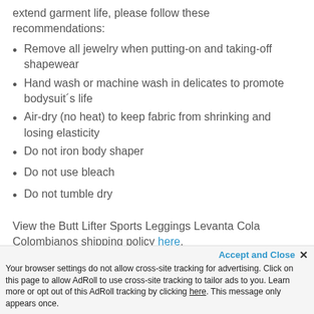extend garment life, please follow these recommendations:
Remove all jewelry when putting-on and taking-off shapewear
Hand wash or machine wash in delicates to promote bodysuit´s life
Air-dry (no heat) to keep fabric from shrinking and losing elasticity
Do not iron body shaper
Do not use bleach
Do not tumble dry
View the Butt Lifter Sports Leggings Levanta Cola Colombianos shipping policy here.
Accept and Close ×
Your browser settings do not allow cross-site tracking for advertising. Click on this page to allow AdRoll to use cross-site tracking to tailor ads to you. Learn more or opt out of this AdRoll tracking by clicking here. This message only appears once.